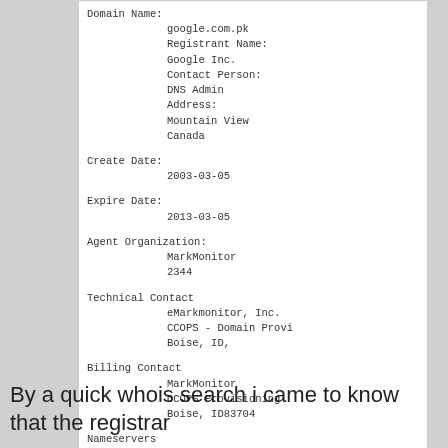Domain Name:
    google.com.pk
    Registrant Name:
    Google Inc.
    Contact Person:
    DNS Admin
    Address:
    Mountain View
    Canada

Create Date:
    2003-03-05

Expire Date:
    2013-03-05

Agent Organization:
    MarkMonitor
    2344

Technical Contact
    eMarkmonitor, Inc.
    CCOPS - Domain Provi
    Boise, ID,

Billing Contact
    MarkMonitor
    CCOPS Provisioning
    Boise, ID83704

Nameservers
    dns1.freehostia.com
    dns2.freehostia.com
Backorder this domain or Hire a domain broker
By a quick whois search i came to know that the registrar